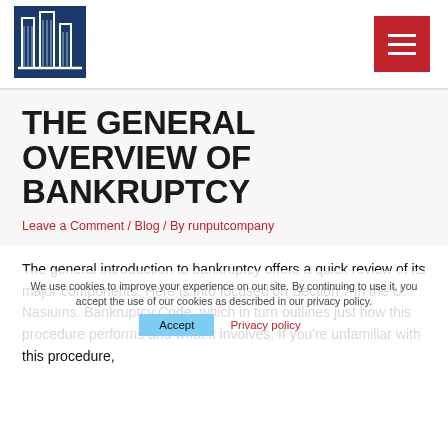[Figure (logo): Law firm logo: dark blue square with white outline of a building/columns]
[Figure (other): Red hamburger menu button with three white horizontal lines]
THE GENERAL OVERVIEW OF BANKRUPTCY
Leave a Comment / Blog / By runputcompany
The general introduction to bankruptcy offers a quick review of its major components. Here is info focused on Section 7 in the U. Nasiums. Bankruptcy Code, which in turn outlines just how this procedure performs and what it involves. If you're unfamiliar with this procedure,
We use cookies to improve your experience on our site. By continuing to use it, you accept the use of our cookies as described in our privacy policy.